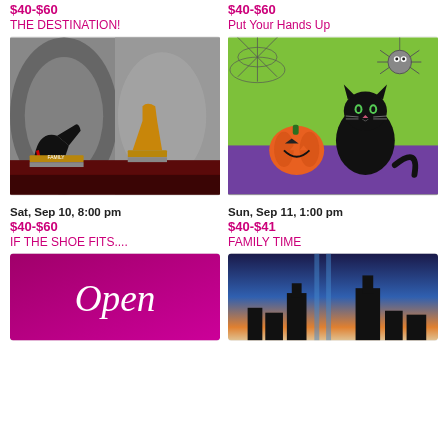$40-$60
THE DESTINATION!
[Figure (photo): Painting of high heels and boots stacked on books]
$40-$60
Put Your Hands Up
[Figure (photo): Halloween painting of a black cat, pumpkin, and spider on green background]
Sat, Sep 10, 8:00 pm
$40-$60
IF THE SHOE FITS....
[Figure (photo): Purple background painting with cursive 'Open' text]
Sun, Sep 11, 1:00 pm
$40-$41
FAMILY TIME
[Figure (photo): City skyline at dusk painting]